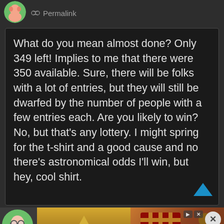Permalink
What do you mean almost done? Only 349 left! Implies to me that there were 350 available. Sure, there will be folks with a lot of entries, but they will still be dwarfed by the number of people with a few entries each. Are you likely to win? No, but that’s any lottery. I might spring for the t-shirt and a good cause and no there’s astronomical odds I’ll win, but hey, cool shirt.
[Figure (screenshot): Harry Potter and BoxLunch advertisement banner showing Hogwarts castle illustration on the left and Harry Potter merchandise (folded scarves/clothes) on the right]